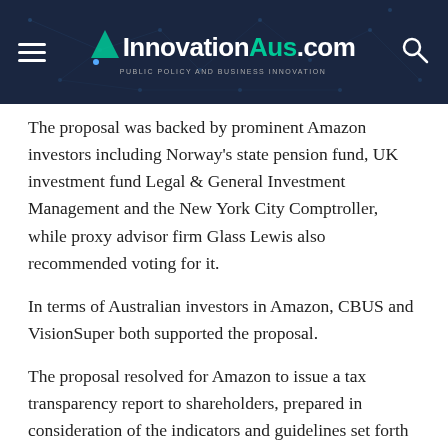InnovationAus.com — PUBLIC POLICY AND BUSINESS INNOVATION
The proposal was backed by prominent Amazon investors including Norway's state pension fund, UK investment fund Legal & General Investment Management and the New York City Comptroller, while proxy advisor firm Glass Lewis also recommended voting for it.
In terms of Australian investors in Amazon, CBUS and VisionSuper both supported the proposal.
The proposal resolved for Amazon to issue a tax transparency report to shareholders, prepared in consideration of the indicators and guidelines set forth in the GRI tax standard.
“With the Covid-19 pandemic resulting in large